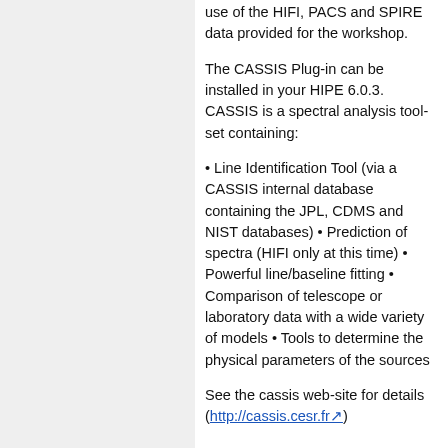use of the HIFI, PACS and SPIRE data provided for the workshop.
The CASSIS Plug-in can be installed in your HIPE 6.0.3. CASSIS is a spectral analysis tool-set containing:
Line Identification Tool (via a CASSIS internal database containing the JPL, CDMS and NIST databases) • Prediction of spectra (HIFI only at this time) • Powerful line/baseline fitting • Comparison of telescope or laboratory data with a wide variety of models • Tools to determine the physical parameters of the sources
See the cassis web-site for details (http://cassis.cesr.fr)